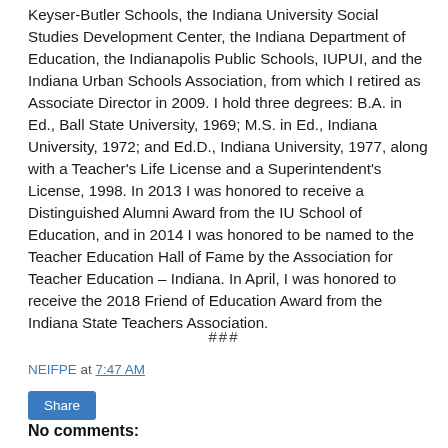Keyser-Butler Schools, the Indiana University Social Studies Development Center, the Indiana Department of Education, the Indianapolis Public Schools, IUPUI, and the Indiana Urban Schools Association, from which I retired as Associate Director in 2009. I hold three degrees: B.A. in Ed., Ball State University, 1969; M.S. in Ed., Indiana University, 1972; and Ed.D., Indiana University, 1977, along with a Teacher's Life License and a Superintendent's License, 1998. In 2013 I was honored to receive a Distinguished Alumni Award from the IU School of Education, and in 2014 I was honored to be named to the Teacher Education Hall of Fame by the Association for Teacher Education – Indiana. In April, I was honored to receive the 2018 Friend of Education Award from the Indiana State Teachers Association.
###
NEIFPE at 7:47 AM
Share
No comments: